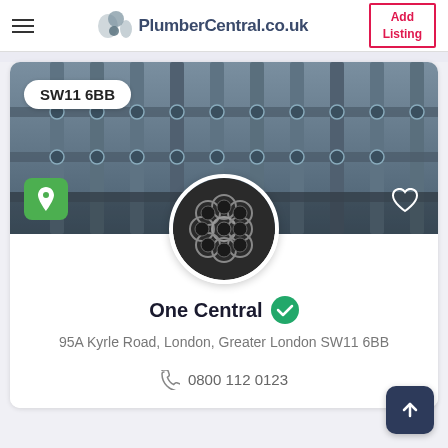PlumberCentral.co.uk — Add Listing
[Figure (screenshot): Plumber listing card showing pipe infrastructure hero image, profile circle with bundled pipes, business name 'One Central' with verified badge, address and phone number]
One Central
95A Kyrle Road, London, Greater London SW11 6BB
0800 112 0123